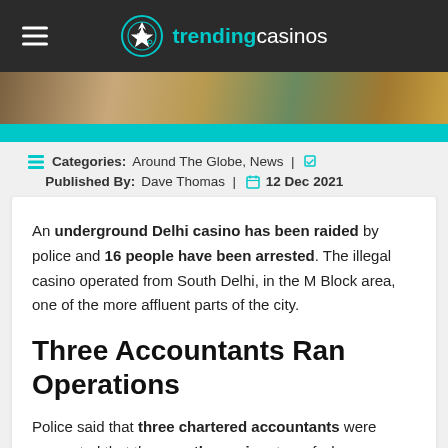trendingcasinos
[Figure (photo): Casino money/chips photo strip]
Categories: Around The Globe, News | Published By: Dave Thomas | 12 Dec 2021
An underground Delhi casino has been raided by police and 16 people have been arrested. The illegal casino operated from South Delhi, in the M Block area, one of the more affluent parts of the city.
Three Accountants Ran Operations
Police said that three chartered accountants were suspected that they ran the casino, two of whom,